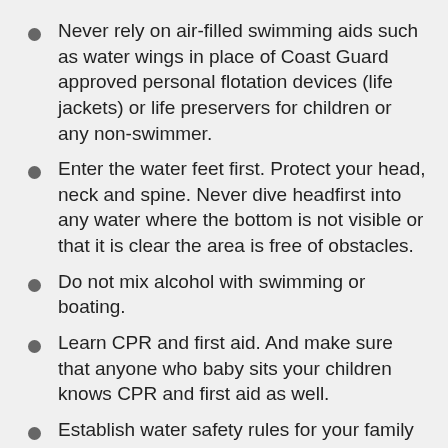Never rely on air-filled swimming aids such as water wings in place of Coast Guard approved personal flotation devices (life jackets) or life preservers for children or any non-swimmer.
Enter the water feet first. Protect your head, neck and spine. Never dive headfirst into any water where the bottom is not visible or that it is clear the area is free of obstacles.
Do not mix alcohol with swimming or boating.
Learn CPR and first aid. And make sure that anyone who baby sits your children knows CPR and first aid as well.
Establish water safety rules for your family based on each person's swimming abilities.
Watch for rip currents or dangerous waves at the beach.